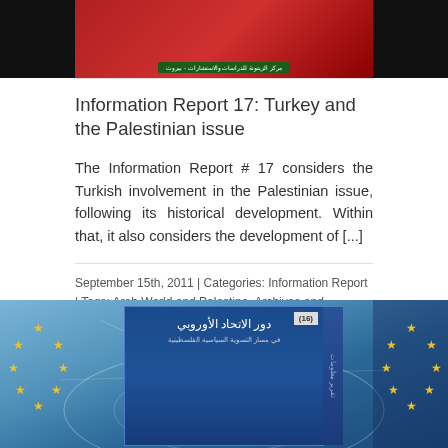[Figure (photo): Top portion of a book cover with red background and Arabic text, shown against a black background]
Information Report 17: Turkey and the Palestinian issue
The Information Report # 17 considers the Turkish involvement in the Palestinian issue, following its historical development. Within that, it also considers the development of [...]
September 15th, 2011 | Categories: Information Report | Tags: Arab World and Palestine, Archives and Information Department, Turkey | 0 Comments
Read More ›
[Figure (photo): Bottom portion of a book cover with blue background showing EU stars and Arabic text, labeled number 16]